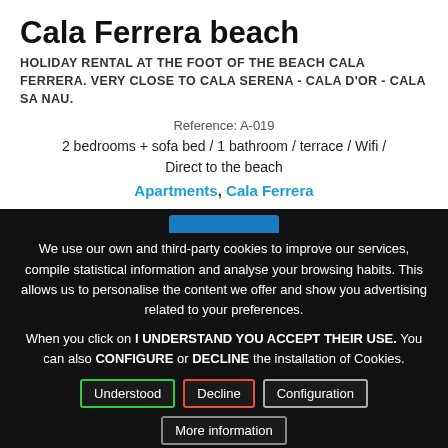Cala Ferrera beach
HOLIDAY RENTAL AT THE FOOT OF THE BEACH CALA FERRERA. VERY CLOSE TO CALA SERENA - CALA D'OR - CALA SA NAU.
Reference: A-019
2 bedrooms + sofa bed / 1 bathroom / terrace / Wifi / Direct to the beach
Apartments, Cala Ferrera
We use our own and third-party cookies to improve our services, compile statistical information and analyse your browsing habits. This allows us to personalise the content we offer and show you advertising related to your preferences.

When you click on I UNDERSTAND YOU ACCEPT THEIR USE. You can also CONFIGURE or DECLINE the installation of Cookies.
Understood | Decline | Configuration | More information